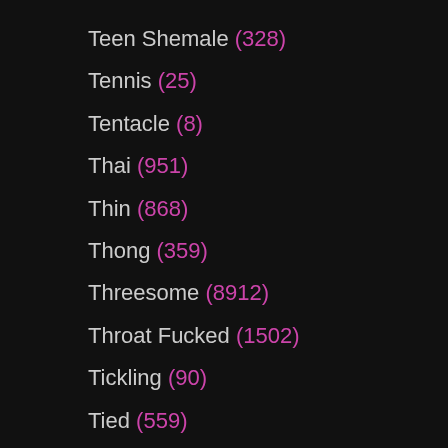Teen Shemale (328)
Tennis (25)
Tentacle (8)
Thai (951)
Thin (868)
Thong (359)
Threesome (8912)
Throat Fucked (1502)
Tickling (90)
Tied (559)
Tight (1717)
Tight Pussy (240)
Tights (147)
Tiny (693)
Tiny Dick (276)